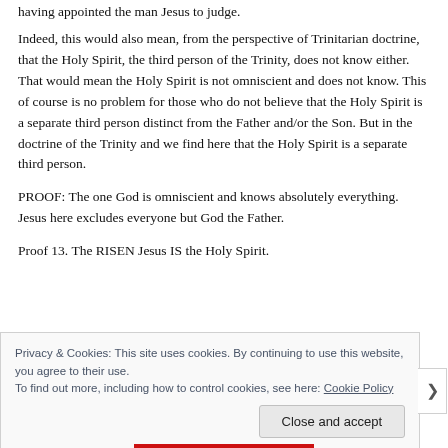having appointed the man Jesus to judge.
Indeed, this would also mean, from the perspective of Trinitarian doctrine, that the Holy Spirit, the third person of the Trinity, does not know either. That would mean the Holy Spirit is not omniscient and does not know. This of course is no problem for those who do not believe that the Holy Spirit is a separate third person distinct from the Father and/or the Son. But in the doctrine of the Trinity and we find here that the Holy Spirit is a separate third person.
PROOF: The one God is omniscient and knows absolutely everything. Jesus here excludes everyone but God the Father.
Proof 13. The RISEN Jesus IS the Holy Spirit.
Privacy & Cookies: This site uses cookies. By continuing to use this website, you agree to their use.
To find out more, including how to control cookies, see here: Cookie Policy
Close and accept